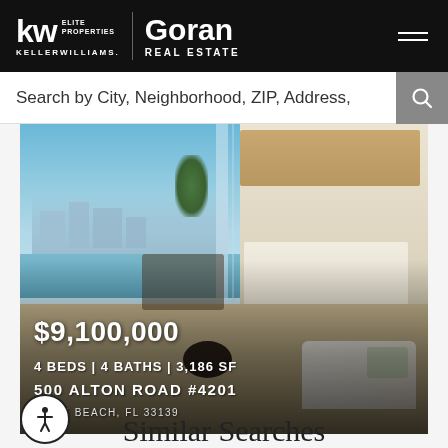KW ELITE PROPERTIES KELLER WILLIAMS | Goran REAL ESTATE
Search by City, Neighborhood, ZIP, Address,
[Figure (photo): Luxury condo interior with panoramic water and city views, modern kitchen, living area. Listed at $9,100,000, 4 beds, 4 baths, 3,186 SF at 500 Alton Road #4201, Miami Beach, FL 33139]
Similar Searches